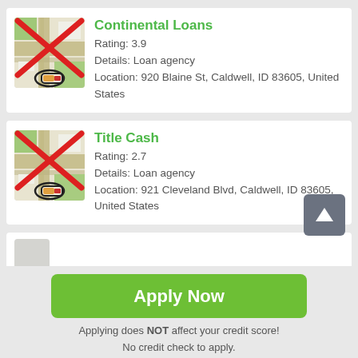[Figure (screenshot): Map placeholder icon with red X overlay and circled pencil icon - Continental Loans listing thumbnail]
Continental Loans
Rating: 3.9
Details: Loan agency
Location: 920 Blaine St, Caldwell, ID 83605, United States
[Figure (screenshot): Map placeholder icon with red X overlay and circled pencil icon - Title Cash listing thumbnail]
Title Cash
Rating: 2.7
Details: Loan agency
Location: 921 Cleveland Blvd, Caldwell, ID 83605, United States
[Figure (screenshot): Partial third listing card visible at bottom]
Apply Now
Applying does NOT affect your credit score!
No credit check to apply.